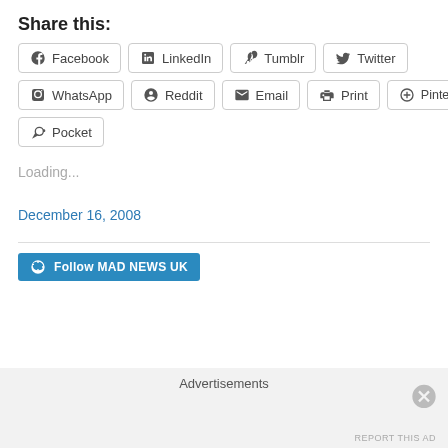Share this:
Facebook LinkedIn Tumblr Twitter WhatsApp Reddit Email Print Pinterest Pocket
Loading...
December 16, 2008
Follow MAD NEWS UK
Advertisements
REPORT THIS AD